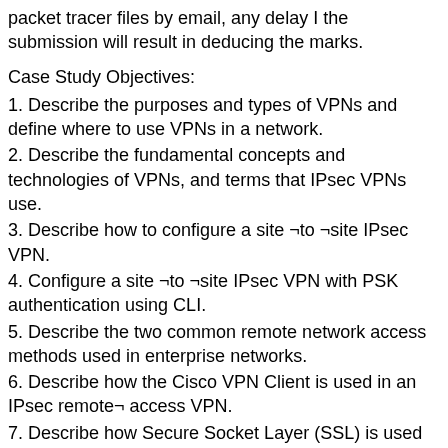packet tracer files by email, any delay I the submission will result in deducing the marks.
Case Study Objectives:
1. Describe the purposes and types of VPNs and define where to use VPNs in a network.
2. Describe the fundamental concepts and technologies of VPNs, and terms that IPsec VPNs use.
3. Describe how to configure a site ¬to ¬site IPsec VPN.
4. Configure a site ¬to ¬site IPsec VPN with PSK authentication using CLI.
5. Describe the two common remote network access methods used in enterprise networks.
6. Describe how the Cisco VPN Client is used in an IPsec remote¬ access VPN.
7. Describe how Secure Socket Layer (SSL) is used in a remote¬ access VPN.